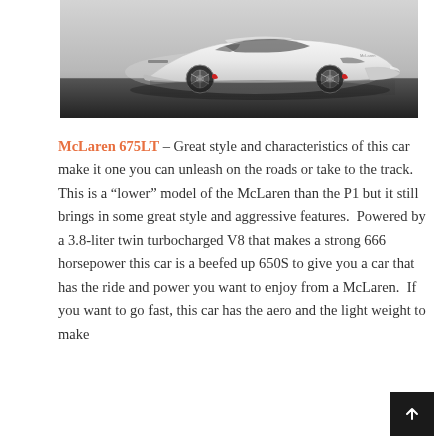[Figure (photo): White McLaren 675LT sports car photographed from a low front three-quarter angle on a reflective dark surface against a light grey background.]
McLaren 675LT – Great style and characteristics of this car make it one you can unleash on the roads or take to the track.  This is a "lower" model of the McLaren than the P1 but it still brings in some great style and aggressive features.  Powered by a 3.8-liter twin turbocharged V8 that makes a strong 666 horsepower this car is a beefed up 650S to give you a car that has the ride and power you want to enjoy from a McLaren.  If you want to go fast, this car has the aero and the light weight to make